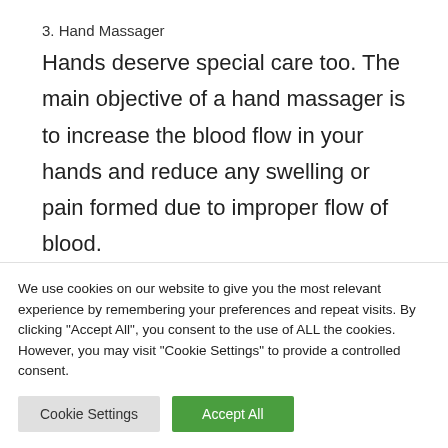3. Hand Massager
Hands deserve special care too. The main objective of a hand massager is to increase the blood flow in your hands and reduce any swelling or pain formed due to improper flow of blood.
There are many acupuncture specific
We use cookies on our website to give you the most relevant experience by remembering your preferences and repeat visits. By clicking “Accept All”, you consent to the use of ALL the cookies. However, you may visit “Cookie Settings” to provide a controlled consent.
Cookie Settings
Accept All